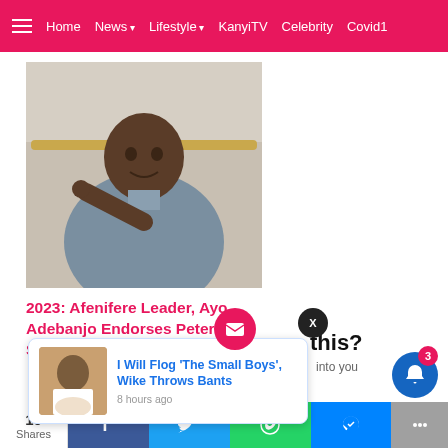Home  News  Lifestyle  KanyiTV  Celebrity  Covid1
[Figure (photo): Elderly man in grey traditional attire pointing at camera, seated on light-colored sofa]
2023: Afenifere Leader, Ayo Adebanjo Endorses Peter Obi, Says Tinubu Is 'Incompetent'
[Figure (screenshot): Notification popup showing: 'I Will Flog The Small Boys, Wike Throws Bants' with thumbnail and '8 hours ago']
10 Shares  Facebook  Twitter  WhatsApp  Messenger